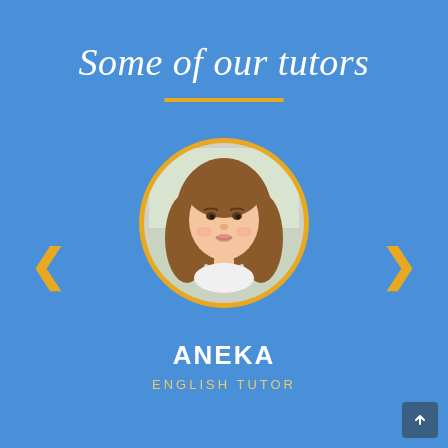Some of our tutors
[Figure (photo): Circular portrait photo of a young woman with long brown hair, framed with a gold/orange circular border, on a blue background. Navigation arrows (< and >) on either side.]
ANEKA
ENGLISH TUTOR